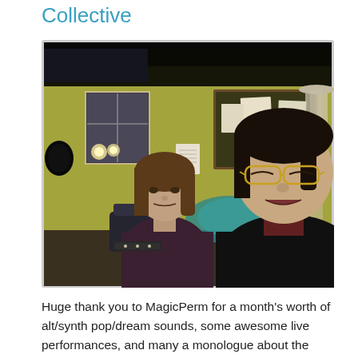Collective
[Figure (photo): Two people sitting in a room that appears to be a radio studio. The person on the left has long hair and is seated in a chair, wearing a dark shirt. The person on the right is closer to the camera with glasses and dark hair, wearing a dark shirt. Behind them is a yellow-green wall with a bulletin board, papers, a window, and a lamp on the right side.]
Huge thank you to MagicPerm for a month’s worth of alt/synth pop/dream sounds, some awesome live performances, and many a monologue about the prophecy of a pigeon. (Did u know Mike Tyson is an enthusiastic pigeon keeper??)